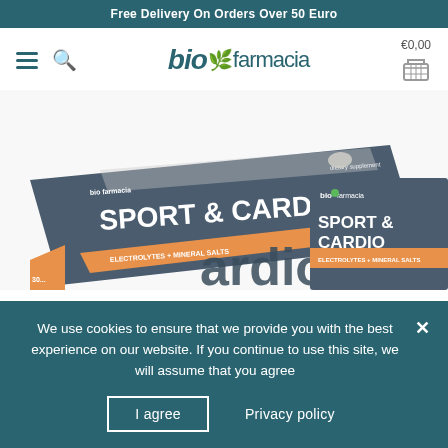Free Delivery On Orders Over 50 Euro
[Figure (logo): biofarmacia logo with green leaf icon]
[Figure (photo): Product boxes of BioFarmacia Sport & Cardio Electrolytes + Mineral Salts dietary supplement]
We use cookies to ensure that we provide you with the best experience on our website. If you continue to use this site, we will assume that you agree
I agree   Privacy policy